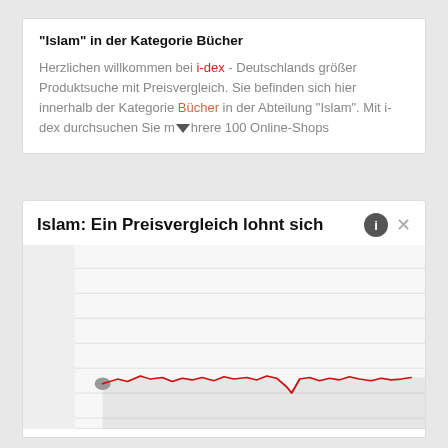"Islam" in der Kategorie Bücher
Herzlichen willkommen bei i-dex - Deutschlands größer Produktsuche mit Preisvergleich. Sie befinden sich hier innerhalb der Kategorie Bücher in der Abteilung "Islam". Mit i-dex durchsuchen Sie mehrere 100 Online-Shops
Islam: Ein Preisvergleich lohnt sich
[Figure (continuous-plot): A line chart showing price comparison data for Islam category books. A red continuous line runs roughly horizontally at the bottom quarter of the chart area, with small oscillations. A grey dot appears at the left start of the line. The chart has horizontal gridlines and a light grey shaded area below the line.]